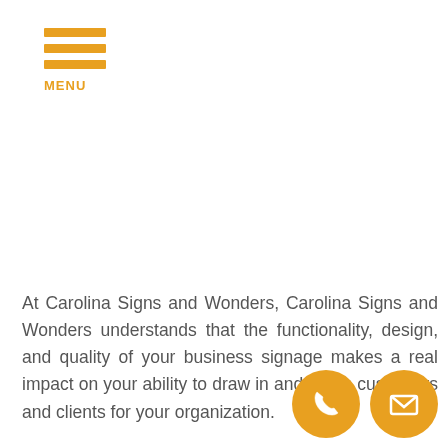[Figure (logo): Orange hamburger menu icon with three horizontal bars and MENU label below]
At Carolina Signs and Wonders, Carolina Signs and Wonders understands that the functionality, design, and quality of your business signage makes a real impact on your ability to draw in and retain customers and clients for your organization.

Our team is invested in surpassing your goals throughout
[Figure (illustration): Two circular orange icons at bottom right: a phone/call icon and an email/envelope icon]